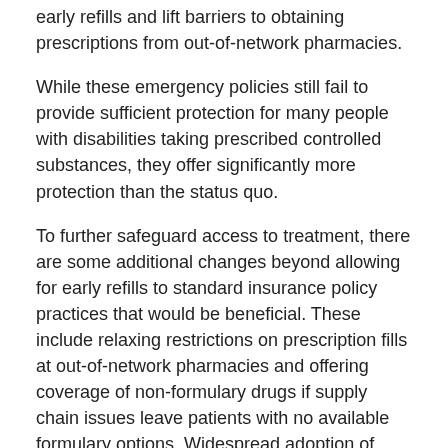early refills and lift barriers to obtaining prescriptions from out-of-network pharmacies.
While these emergency policies still fail to provide sufficient protection for many people with disabilities taking prescribed controlled substances, they offer significantly more protection than the status quo.
To further safeguard access to treatment, there are some additional changes beyond allowing for early refills to standard insurance policy practices that would be beneficial. These include relaxing restrictions on prescription fills at out-of-network pharmacies and offering coverage of non-formulary drugs if supply chain issues leave patients with no available formulary options. Widespread adoption of such policies would go a long way toward protecting the lives of people with disabilities in the COVID-19 crisis.
Now is the time to reach out to your state's insurance Commissioner to urge them to follow Washington State's lead in requiring early refills and to take other measures designed to ensure at-risk populations are able to follow the CDC's guidance. We've prepared a template for advocacy organizations to use to urge their state's